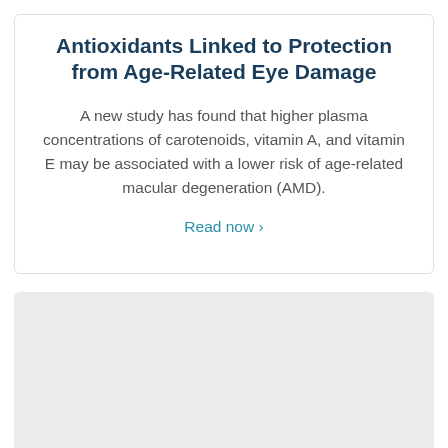Antioxidants Linked to Protection from Age-Related Eye Damage
A new study has found that higher plasma concentrations of carotenoids, vitamin A, and vitamin E may be associated with a lower risk of age-related macular degeneration (AMD).
Read now ›
[Figure (other): Gray placeholder rectangle, likely an image loading area]